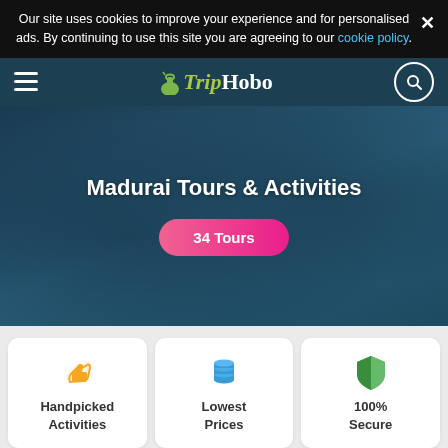Our site uses cookies to improve your experience and for personalised ads. By continuing to use this site you are agreeing to our cookie policy.
[Figure (screenshot): TripHobo navigation bar with hamburger menu, TripHobo logo, and search icon]
Madurai Tours & Activities
34 Tours
Handpicked Activities
Lowest Prices
100% Secure